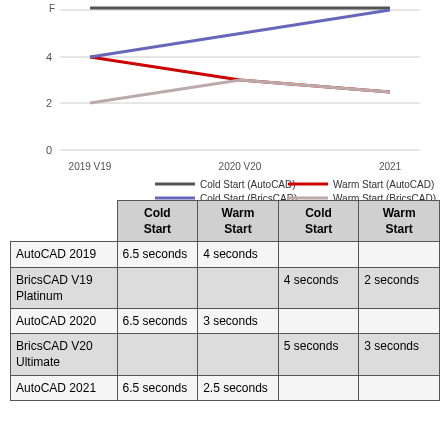[Figure (line-chart): ]
|  | Cold Start | Warm Start | Cold Start | Warm Start |
| --- | --- | --- | --- | --- |
| AutoCAD 2019 | 6.5 seconds | 4 seconds |  |  |
| BricsCAD V19 Platinum |  |  | 4 seconds | 2 seconds |
| AutoCAD 2020 | 6.5 seconds | 3 seconds |  |  |
| BricsCAD V20 Ultimate |  |  | 5 seconds | 3 seconds |
| AutoCAD 2021 | 6.5 seconds | 2.5 seconds |  |  |